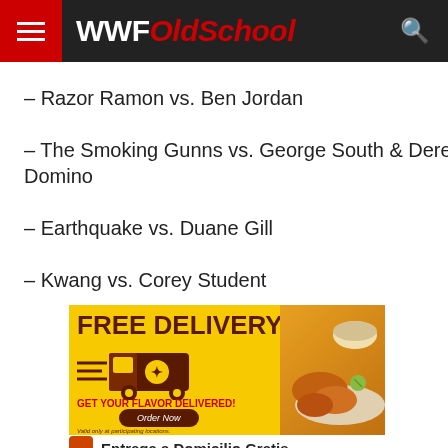WWFOldSchool
– Razor Ramon vs. Ben Jordan
– The Smoking Gunns vs. George South & Derek Domino
– Earthquake vs. Duane Gill
– Kwang vs. Corey Student
[Figure (other): Advertisement banner: FREE DELIVERY - GET YOUR FLAVOR DELIVERED! with delivery truck graphic and food photo. Order Now button.]
Entrega a Domicilio Gratis